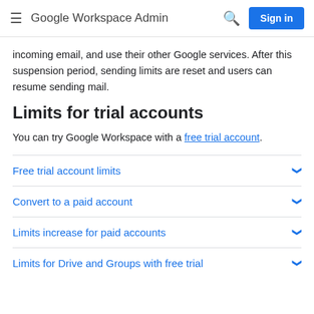Google Workspace Admin  Sign in
incoming email, and use their other Google services. After this suspension period, sending limits are reset and users can resume sending mail.
Limits for trial accounts
You can try Google Workspace with a free trial account.
Free trial account limits
Convert to a paid account
Limits increase for paid accounts
Limits for Drive and Groups with free trial